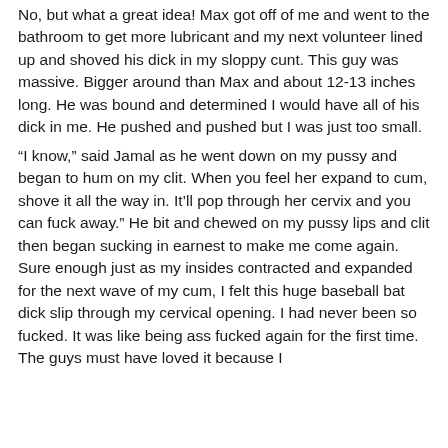No, but what a great idea! Max got off of me and went to the bathroom to get more lubricant and my next volunteer lined up and shoved his dick in my sloppy cunt. This guy was massive. Bigger around than Max and about 12-13 inches long. He was bound and determined I would have all of his dick in me. He pushed and pushed but I was just too small.
“I know,” said Jamal as he went down on my pussy and began to hum on my clit. When you feel her expand to cum, shove it all the way in. It’ll pop through her cervix and you can fuck away.” He bit and chewed on my pussy lips and clit then began sucking in earnest to make me come again. Sure enough just as my insides contracted and expanded for the next wave of my cum, I felt this huge baseball bat dick slip through my cervical opening. I had never been so fucked. It was like being ass fucked again for the first time. The guys must have loved it because I